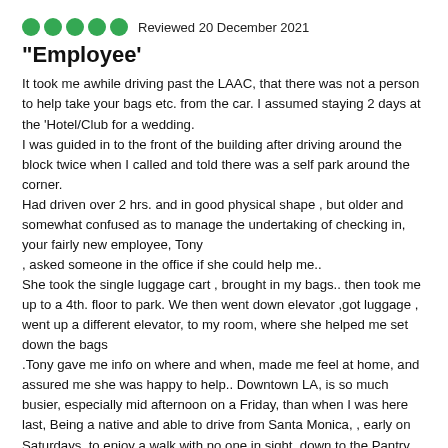[Figure (other): Five green filled circles representing a 5-star rating]
Reviewed 20 December 2021
“Employee’
It took me awhile driving past the LAAC, that there was not a person to help take your bags etc. from the car. I assumed staying 2 days at the ‘Hotel/Club for a wedding.
I was guided in to the front of the building after driving around the block twice when I called and told there was a self park around the corner.
Had driven over 2 hrs. and in good physical shape , but older and somewhat confused as to manage the undertaking of checking in, your fairly new employee, Tony
, asked someone in the office if she could help me..
She took the single luggage cart , brought in my bags.. then took me up to a 4th. floor to park. We then went down elevator ,got luggage , went up a different elevator, to my room, where she helped me set down the bags
.Tony gave me info on where and when, made me feel at home, and assured me she was happy to help.. Downtown LA, is so much busier, especially mid afternoon on a Friday, than when I was here last, Being a native and able to drive from Santa Monica, , early on Saturdays, to enjoy a walk with no one in sight, down to the Pantry for breakfast here at Brooks Bros., and go to